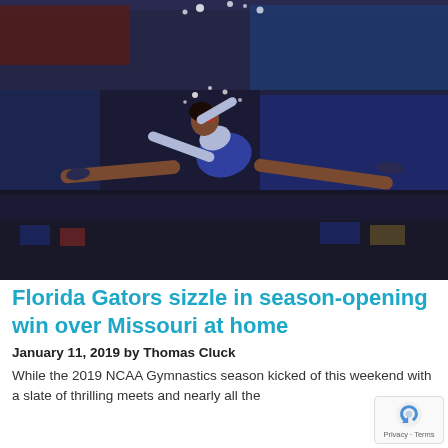[Figure (photo): A female gymnast in a blue and white leotard performs a dramatic leap/split jump during a gymnastics meet, with a packed crowd visible in the background.]
Florida Gators sizzle in season-opening win over Missouri at home
January 11, 2019 by Thomas Cluck
While the 2019 NCAA Gymnastics season kicked off this weekend with a slate of thrilling meets and nearly all the